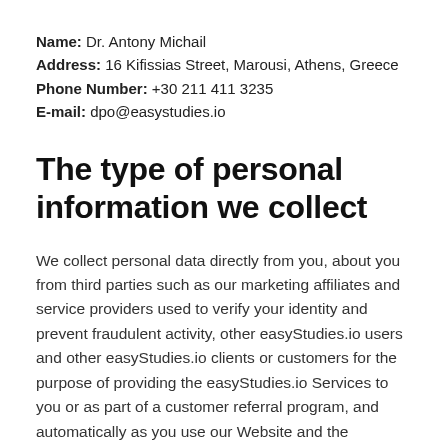Name: Dr. Antony Michail
Address: 16 Kifissias Street, Marousi, Athens, Greece
Phone Number: +30 211 411 3235
E-mail: dpo@easystudies.io
The type of personal information we collect
We collect personal data directly from you, about you from third parties such as our marketing affiliates and service providers used to verify your identity and prevent fraudulent activity, other easyStudies.io users and other easyStudies.io clients or customers for the purpose of providing the easyStudies.io Services to you or as part of a customer referral program, and automatically as you use our Website and the Services